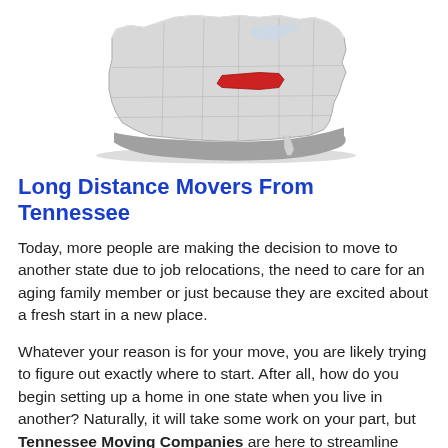[Figure (map): 3D-style gray relief map of the contiguous United States with Tennessee highlighted in red/dark red.]
Long Distance Movers From Tennessee
Today, more people are making the decision to move to another state due to job relocations, the need to care for an aging family member or just because they are excited about a fresh start in a new place.
Whatever your reason is for your move, you are likely trying to figure out exactly where to start. After all, how do you begin setting up a home in one state when you live in another? Naturally, it will take some work on your part, but Tennessee Moving Companies are here to streamline your move with a free printable moving checklist along with no obligation quotes for long distance movers that will help you